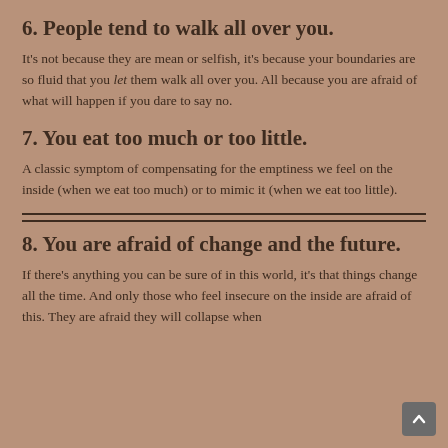6. People tend to walk all over you.
It's not because they are mean or selfish, it's because your boundaries are so fluid that you let them walk all over you. All because you are afraid of what will happen if you dare to say no.
7. You eat too much or too little.
A classic symptom of compensating for the emptiness we feel on the inside (when we eat too much) or to mimic it (when we eat too little).
8. You are afraid of change and the future.
If there's anything you can be sure of in this world, it's that things change all the time. And only those who feel insecure on the inside are afraid of this. They are afraid they will collapse when